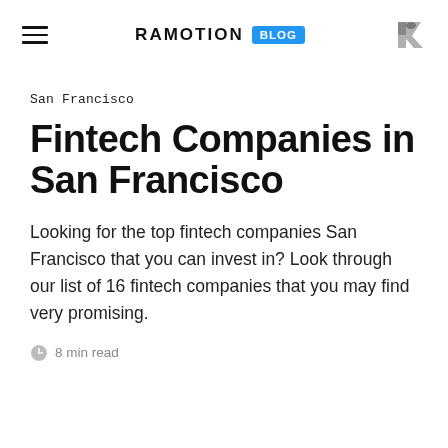RAMOTION BLOG
San Francisco
Fintech Companies in San Francisco
Looking for the top fintech companies San Francisco that you can invest in? Look through our list of 16 fintech companies that you may find very promising.
8 min read